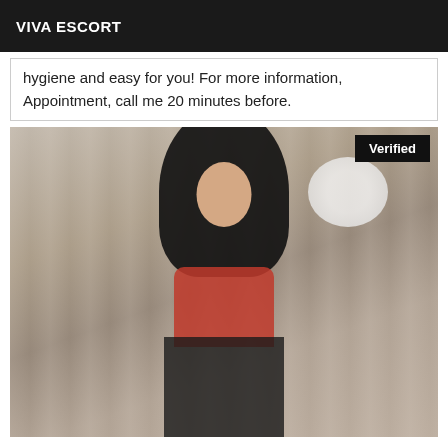VIVA ESCORT
hygiene and easy for you! For more information, Appointment, call me 20 minutes before.
[Figure (photo): Photo of a woman with long dark hair wearing a red top and dark lace bottom, seated, with white flowers in the background against a curtain. A 'Verified' badge appears in the top-right corner of the image.]